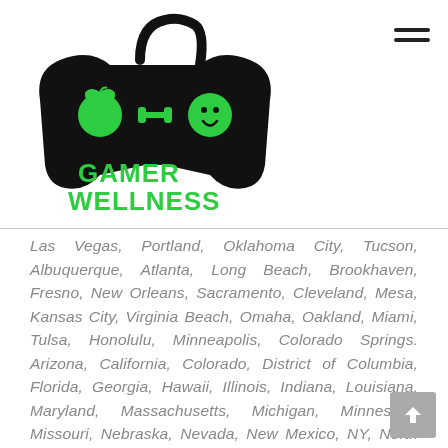[Figure (logo): Gamer Wellness logo: game controller icon with apple, dumbbell, and smiley face symbols, with 'GAMER WELLNESS' text in green pixel font below]
Las Vegas, Portland, Oklahoma City, Tucson, Albuquerque, Atlanta, Long Beach, Brookhaven, Fresno, New Orleans, Sacramento, Cleveland, Mesa, Kansas City, Virginia Beach, Omaha, Oakland, Miami, Tulsa, Honolulu, Minneapolis, Colorado Springs. Arizona, California, Colorado, District of Columbia, Florida, Georgia, Hawaii, Illinois, Indiana, Louisiana, Maryland, Massachusetts, Michigan, Minnesota, Missouri, Nebraska, Nevada, New Mexico, NY, North Carolina, Ohio, Oklahoma, Oregon, Pennsylvania, Tennessee, Texas, Virginia, Washington, Wisconsin, Alabama, AL, Alaska, AK, Arizona, AZ, Arkansas, AR, California, CA, Colorado, CO, Connecticut, CT, Delaware, DE, District of Columbia, DC, Florida, FL, Georgia, GA, Hawaii, HI, Idaho, ID, Illinois, IL, Indiana, IN, Iowa, IA, Kansas,